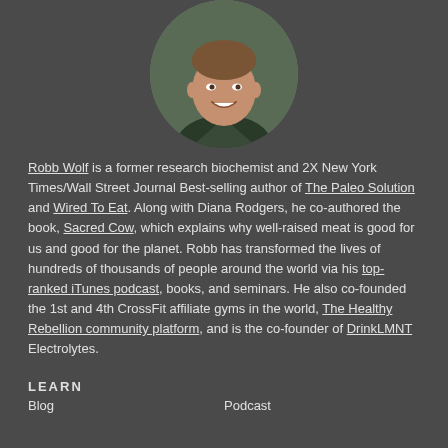[Figure (photo): Circular headshot photo of a smiling man (Robb Wolf) with short dark hair, wearing a dark green v-neck shirt, against a blurred outdoor background.]
Robb Wolf is a former research biochemist and 2X New York Times/Wall Street Journal Best-selling author of The Paleo Solution and Wired To Eat. Along with Diana Rodgers, he co-authored the book, Sacred Cow, which explains why well-raised meat is good for us and good for the planet. Robb has transformed the lives of hundreds of thousands of people around the world via his top-ranked iTunes podcast, books, and seminars. He also co-founded the 1st and 4th CrossFit affiliate gyms in the world, The Healthy Rebellion community platform, and is the co-founder of DrinkLMNT Electrolytes.
LEARN
Blog
Podcast